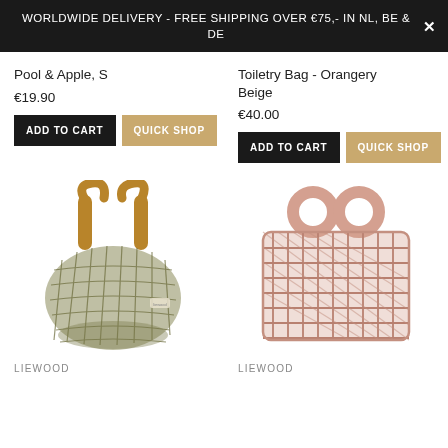WORLDWIDE DELIVERY - FREE SHIPPING OVER €75,- IN NL, BE & DE
Pool & Apple, S
€19.90
Toiletry Bag - Orangery Beige
€40.00
[Figure (photo): Green/olive mesh net shopping bag with tan/camel leather handles]
LIEWOOD
[Figure (photo): Pink/rose lattice plastic basket bag with round circular handles]
LIEWOOD